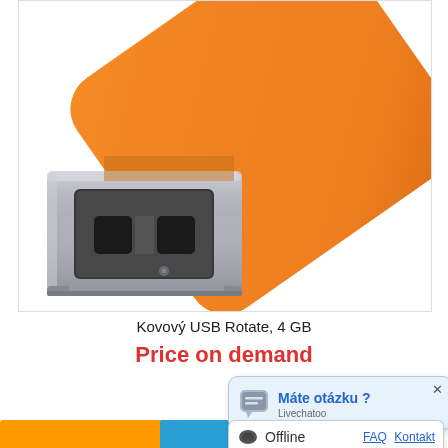[Figure (photo): Close-up photo of an orange USB flash drive (Kovový USB Rotate, 4 GB) showing the silver metallic connector tip with two rectangular cutouts, angled view on white background.]
Kovový USB Rotate, 4 GB
Price on demand
[Figure (screenshot): Live chat popup widget showing 'Máte otázku ?' in bold blue text with Livechatoo branding and a close X button, with a speech bubble icon.]
Offline   FAQ  Kontakt